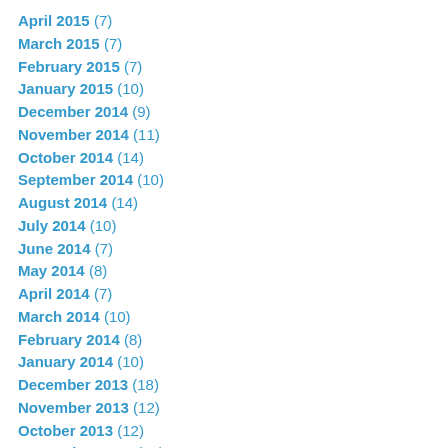April 2015 (7)
March 2015 (7)
February 2015 (7)
January 2015 (10)
December 2014 (9)
November 2014 (11)
October 2014 (14)
September 2014 (10)
August 2014 (14)
July 2014 (10)
June 2014 (7)
May 2014 (8)
April 2014 (7)
March 2014 (10)
February 2014 (8)
January 2014 (10)
December 2013 (18)
November 2013 (12)
October 2013 (12)
September 2013 (11)